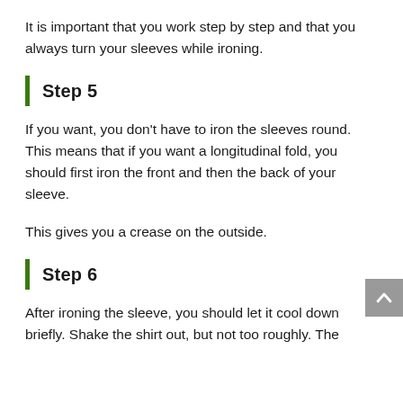It is important that you work step by step and that you always turn your sleeves while ironing.
Step 5
If you want, you don't have to iron the sleeves round. This means that if you want a longitudinal fold, you should first iron the front and then the back of your sleeve.
This gives you a crease on the outside.
Step 6
After ironing the sleeve, you should let it cool down briefly. Shake the shirt out, but not too roughly. The